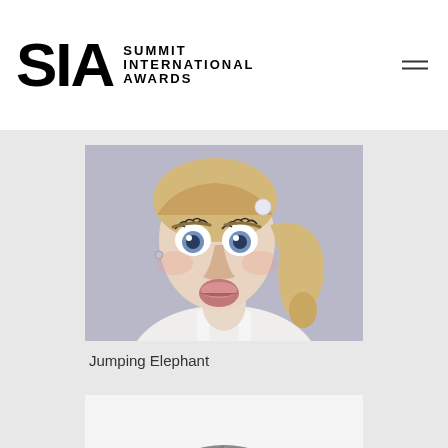SIA SUMMIT INTERNATIONAL AWARDS
[Figure (photo): Portrait photo of a young blonde woman with her hair in a side ponytail, making a funny face (puckered lips and wide eyes), wearing a white top, against a light grey background.]
Jumping Elephant
[Figure (photo): Partial image showing a grey abstract or camera lens graphic on white background.]